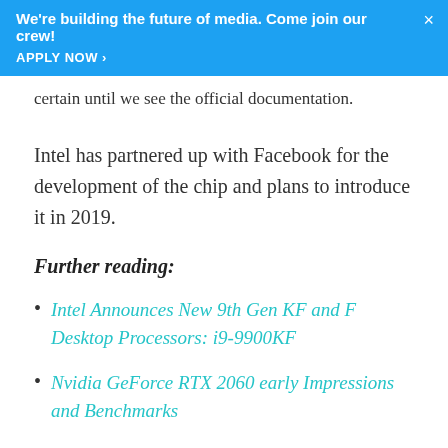We're building the future of media. Come join our crew! APPLY NOW ›
certain until we see the official documentation.
Intel has partnered up with Facebook for the development of the chip and plans to introduce it in 2019.
Further reading:
Intel Announces New 9th Gen KF and F Desktop Processors: i9-9900KF
Nvidia GeForce RTX 2060 early Impressions and Benchmarks